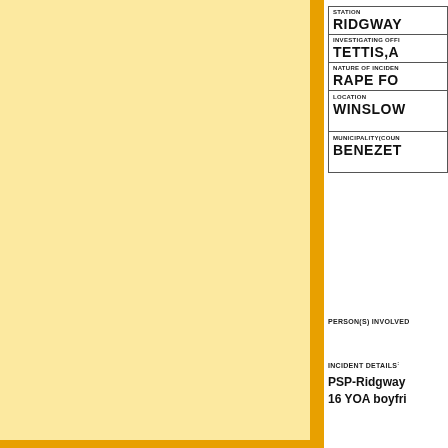| STATION | RIDGWAY |
| INVESTIGATING OFFICER | TETTIS, A |
| NATURE OF INCIDENT | RAPE FO |
| LOCATION | WINSLOW |
| MUNICIPALITY (COUNTY) | BENEZET |
PERSON(S) INVOLVED
INCIDENT DETAILS:
PSP-Ridgway
16 YOA boyfri